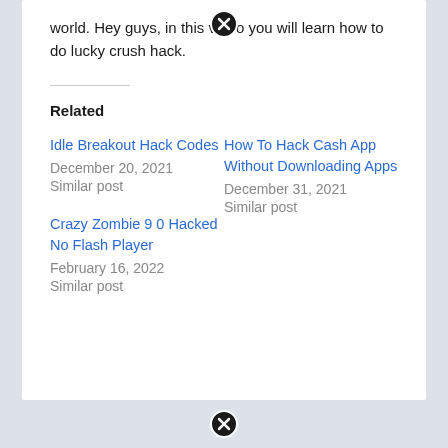world. Hey guys, in this video you will learn how to do lucky crush hack.
Related
Idle Breakout Hack Codes
December 20, 2021
Similar post
How To Hack Cash App Without Downloading Apps
December 31, 2021
Similar post
Crazy Zombie 9 0 Hacked No Flash Player
February 16, 2022
Similar post